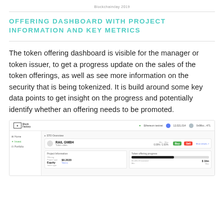Blockchainday 2019
OFFERING DASHBOARD WITH PROJECT INFORMATION AND KEY METRICS
The token offering dashboard is visible for the manager or token issuer, to get a progress update on the sales of the token offerings, as well as see more information on the security that is being tokenized. It is build around some key data points to get insight on the progress and potentially identify whether an offering needs to be promoted.
[Figure (screenshot): Screenshot of a token offering dashboard UI showing a navigation bar with Ethereum testnet indicator, a sidebar with Home/Invest/Portfolio links, and main content area with STO Overview for RAIL GMBH company showing Buy/Sell buttons, Project Information panel with Offering type (Equity), Token Sale price, and a Token offering progress bar.]